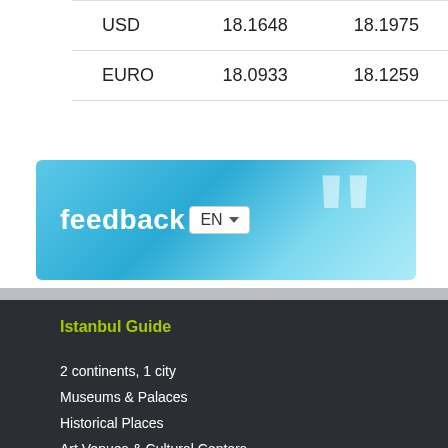| USD | 18.1648 | 18.1975 |
| EURO | 18.0933 | 18.1259 |
[Figure (screenshot): Feedback button with EN language dropdown selector on a blue gradient background with a decorative curly quote symbol]
Istanbul Guide
2 continents, 1 city
Museums & Palaces
Historical Places
Art Venues & Cultural Centers
Things to Do
Istanbul by Night
Entertainment
Shopping
Events
Istanbul Essentials